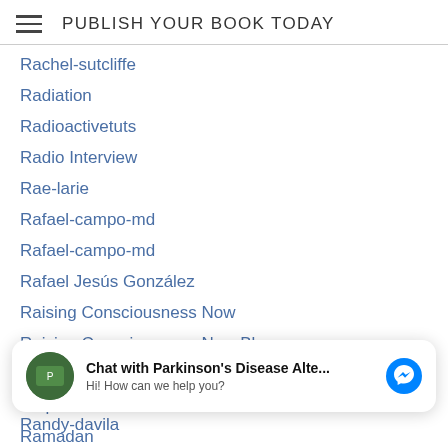PUBLISH YOUR BOOK TODAY
Rachel-sutcliffe
Radiation
Radioactivetuts
Radio Interview
Rae-larie
Rafael-campo-md
Rafael-campo-md
Rafael Jesús González
Raising Consciousness Now
Raising Consciousness Now Blog
Rajeev-moothedath
Ralph-culver
Ramadan
Ramesh Khanna (partially visible)
[Figure (screenshot): Facebook Messenger chat widget: avatar of Parkinson's Disease Alte..., title 'Chat with Parkinson's Disease Alte...', subtitle 'Hi! How can we help you?', Messenger icon button]
Randy-davila